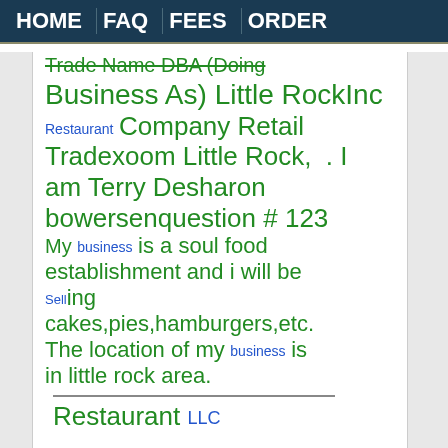HOME | FAQ | FEES | ORDER
Trade Name DBA (Doing Business As) Little RockInc Restaurant Company Retail Tradexoom Little Rock, . I am Terry Desharon bowersenquestion # 123 My business is a soul food establishment and i will be Selling cakes,pies,hamburgers,etc. The location of my business is in little rock area.
Restaurant LLC